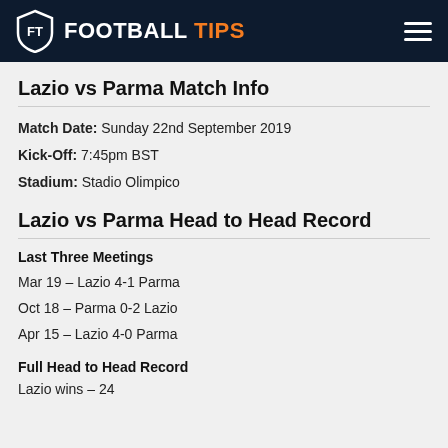FOOTBALL TIPS
Lazio vs Parma Match Info
Match Date: Sunday 22nd September 2019
Kick-Off: 7:45pm BST
Stadium: Stadio Olimpico
Lazio vs Parma Head to Head Record
Last Three Meetings
Mar 19 – Lazio 4-1 Parma
Oct 18 – Parma 0-2 Lazio
Apr 15 – Lazio 4-0 Parma
Full Head to Head Record
Lazio wins – 24